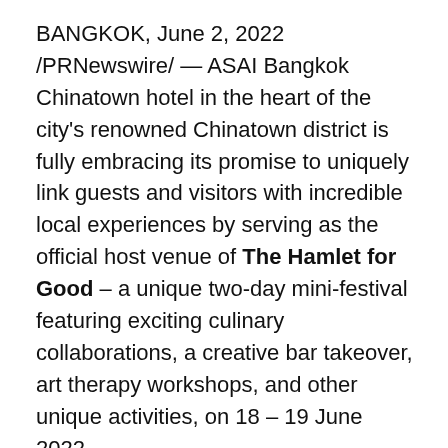BANGKOK, June 2, 2022 /PRNewswire/ — ASAI Bangkok Chinatown hotel in the heart of the city's renowned Chinatown district is fully embracing its promise to uniquely link guests and visitors with incredible local experiences by serving as the official host venue of The Hamlet for Good – a unique two-day mini-festival featuring exciting culinary collaborations, a creative bar takeover, art therapy workshops, and other unique activities, on 18 – 19 June 2022.